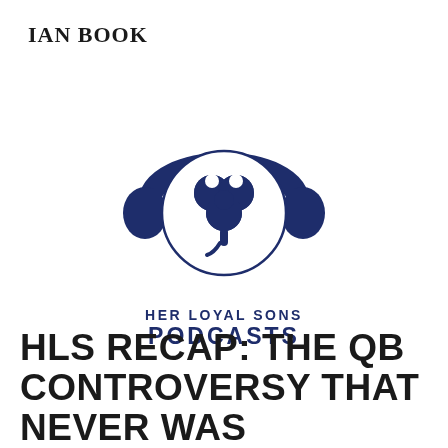IAN BOOK
[Figure (logo): Her Loyal Sons Podcasts logo: headphones encircling a shamrock clover, dark navy blue, with text 'HER LOYAL SONS PODCASTS' below]
HLS RECAP: THE QB CONTROVERSY THAT NEVER WAS